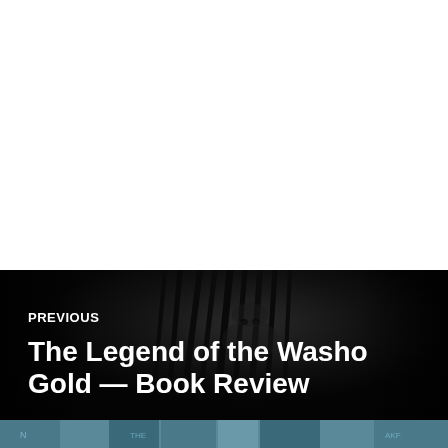[Figure (photo): Dark, moody close-up portrait of a person with dreadlocks, mostly in shadow, forming the background of a navigation card. Below the main photo, a thin strip shows book spines in teal/blue tones.]
PREVIOUS
The Legend of the Washo Gold — Book Review